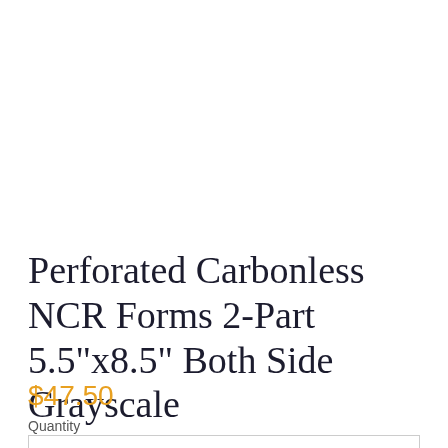Perforated Carbonless NCR Forms 2-Part 5.5"x8.5" Both Side Grayscale
$47.50
Quantity